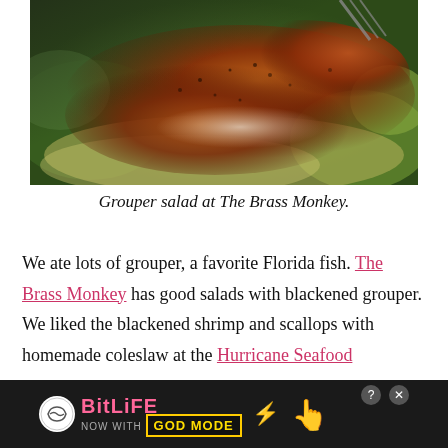[Figure (photo): Close-up photo of a blackened grouper salad with greens at The Brass Monkey restaurant]
Grouper salad at The Brass Monkey.
We ate lots of grouper, a favorite Florida fish. The Brass Monkey has good salads with blackened grouper. We liked the blackened shrimp and scallops with homemade coleslaw at the Hurricane Seafood Restaurant. The Paradise Grille overlooking the beac
[Figure (screenshot): BitLife advertisement banner: NOW WITH GOD MODE]